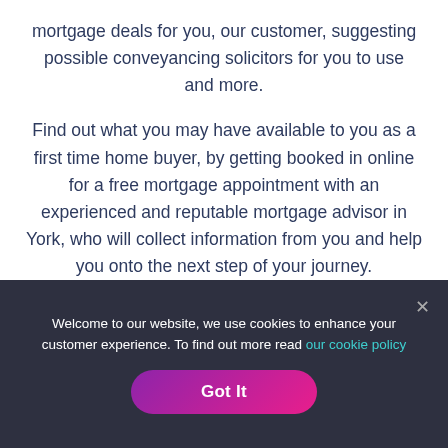mortgage deals for you, our customer, suggesting possible conveyancing solicitors for you to use and more.
Find out what you may have available to you as a first time home buyer, by getting booked in online for a free mortgage appointment with an experienced and reputable mortgage advisor in York, who will collect information from you and help you onto the next step of your journey.
Welcome to our website, we use cookies to enhance your customer experience. To find out more read our cookie policy